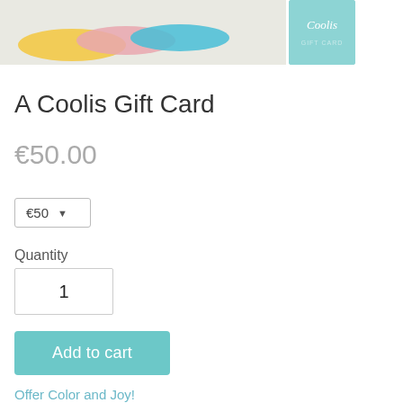[Figure (photo): Product photo of colorful Coolis shoes in yellow, pink, blue on tiled floor]
[Figure (logo): Coolis brand logo thumbnail in teal/mint color]
A Coolis Gift Card
€50.00
€50 ▾
Quantity
1
Add to cart
Offer Color and Joy!
Choose the Coolis Gift Card with the amount you want to offer. We will send you an e-mail with the offer code and an image of the card so you can print or send to someone. Who